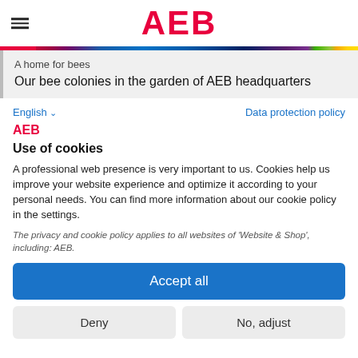AEB
[Figure (screenshot): Website banner showing 'A home for bees' subtitle and 'Our bee colonies in the garden of AEB headquarters' title]
English ∨
Data protection policy
AEB
Use of cookies
A professional web presence is very important to us. Cookies help us improve your website experience and optimize it according to your personal needs. You can find more information about our cookie policy in the settings.
The privacy and cookie policy applies to all websites of 'Website & Shop', including: AEB.
Accept all
Deny
No, adjust